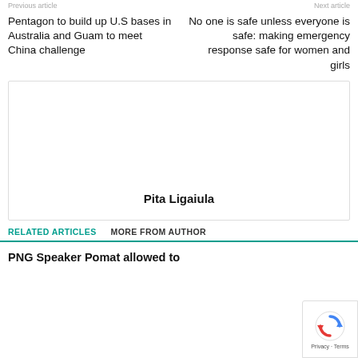Previous article | Next article
Pentagon to build up U.S bases in Australia and Guam to meet China challenge
No one is safe unless everyone is safe: making emergency response safe for women and girls
[Figure (other): Author profile box with name Pita Ligaiula]
Pita Ligaiula
RELATED ARTICLES
MORE FROM AUTHOR
PNG Speaker Pomat allowed to